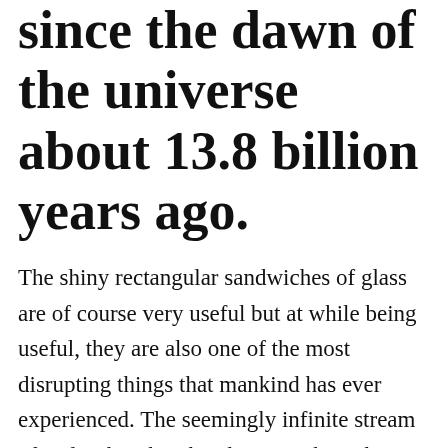since the dawn of the universe about 13.8 billion years ago.
The shiny rectangular sandwiches of glass are of course very useful but at while being useful, they are also one of the most disrupting things that mankind has ever experienced. The seemingly infinite stream of endorphin that they hit us with, makes our primitive brain crave more. I am not